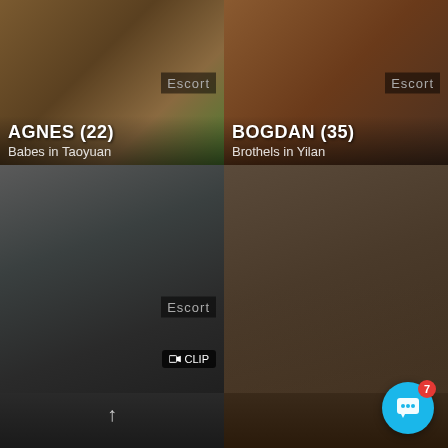[Figure (photo): Profile card for Agnes (22), Babes in Taoyuan escort listing, with floral background]
[Figure (photo): Profile card for Bogdan (35), Brothels in Yilan escort listing, warm brown background]
[Figure (photo): Profile card for Charlotte (32), Escort in Taoyuan listing, with CLIP badge]
[Figure (photo): Profile card for Leticia (33), Taoyuan listing, woman in floral skirt]
[Figure (photo): Bottom strip showing partial profile photos]